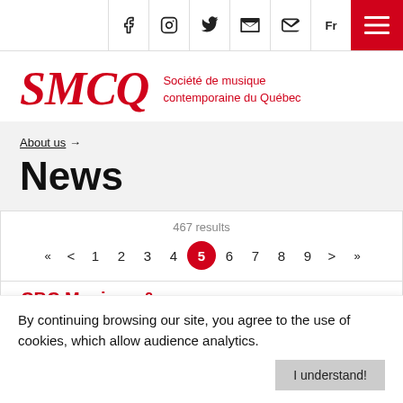SMCQ – Société de musique contemporaine du Québec | Social icons: Facebook, Instagram, Twitter, YouTube, Email | Fr | Menu
[Figure (logo): SMCQ logo in red italic serif font with tagline 'Société de musique contemporaine du Québec' in red]
About us →
News
467 results
« < 1 2 3 4 5 6 7 8 9 > »  (page 5 active)
By continuing browsing our site, you agree to the use of cookies, which allow audience analytics.